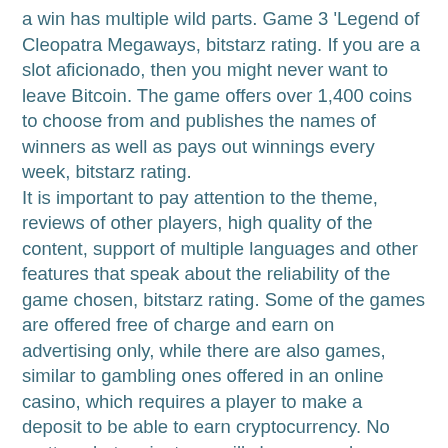a win has multiple wild parts. Game 3 'Legend of Cleopatra Megaways, bitstarz rating. If you are a slot aficionado, then you might never want to leave Bitcoin. The game offers over 1,400 coins to choose from and publishes the names of winners as well as pays out winnings every week, bitstarz rating.
It is important to pay attention to the theme, reviews of other players, high quality of the content, support of multiple languages and other features that speak about the reliability of the game chosen, bitstarz rating. Some of the games are offered free of charge and earn on advertising only, while there are also games, similar to gambling ones offered in an online casino, which requires a player to make a deposit to be able to earn cryptocurrency. No matter what variant you will choose, we have gathered 20 best bitcoin mining games for you to